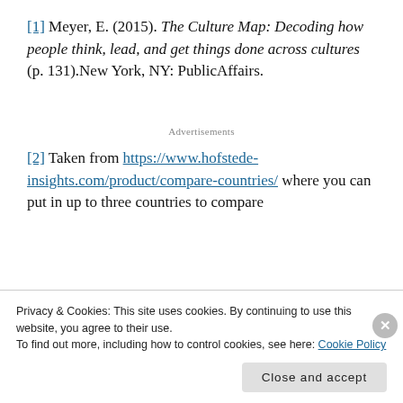[1] Meyer, E. (2015). The Culture Map: Decoding how people think, lead, and get things done across cultures (p. 131).New York, NY: PublicAffairs.
Advertisements
[2] Taken from https://www.hofstede-insights.com/product/compare-countries/ where you can put in up to three countries to compare
Privacy & Cookies: This site uses cookies. By continuing to use this website, you agree to their use.
To find out more, including how to control cookies, see here: Cookie Policy